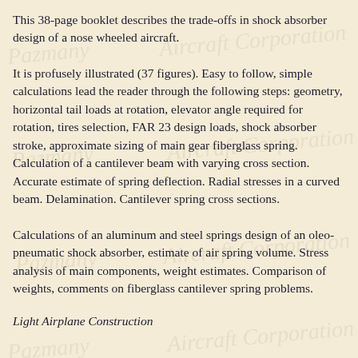This 38-page booklet describes the trade-offs in shock absorber design of a nose wheeled aircraft.
It is profusely illustrated (37 figures). Easy to follow, simple calculations lead the reader through the following steps: geometry, horizontal tail loads at rotation, elevator angle required for rotation, tires selection, FAR 23 design loads, shock absorber stroke, approximate sizing of main gear fiberglass spring. Calculation of a cantilever beam with varying cross section. Accurate estimate of spring deflection. Radial stresses in a curved beam. Delamination. Cantilever spring cross sections.
Calculations of an aluminum and steel springs design of an oleo-pneumatic shock absorber, estimate of air spring volume. Stress analysis of main components, weight estimates. Comparison of weights, comments on fiberglass cantilever spring problems.
Light Airplane Construction